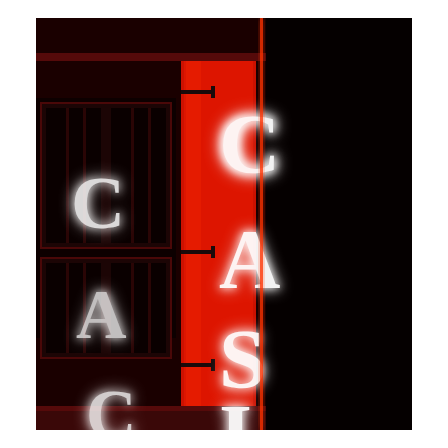[Figure (photo): Nighttime photograph of a casino building exterior. A vertical red neon sign reads 'CASI' (with more letters implied below frame) in glowing white neon letters mounted on a red structural column. The building facade shows dark windows with red trim. The background is very dark/black night sky. A second partial neon sign is visible on the left side of the frame.]